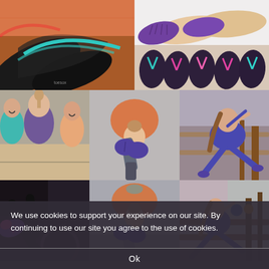[Figure (photo): Collage of fitness/yoga product photos: flip flops and shoes closeup, purple toe socks on feet, multiple colorful flip flops laid out, group of women laughing at gym, woman in yoga pose with purple gloves, woman doing pilates on reformer, woman cycling with purple grip socks, woman exercising on pilates reformer equipment]
We use cookies to support your experience on our site. By continuing to use our site you agree to the use of cookies.
Ok